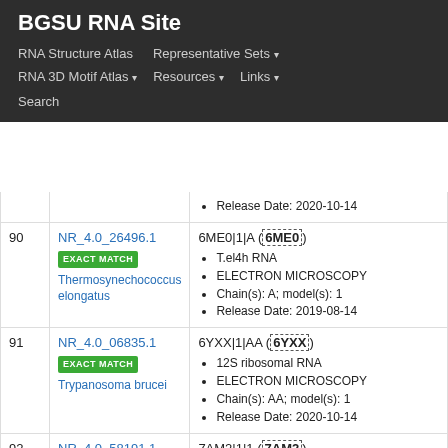BGSU RNA Site
RNA Structure Atlas | Representative Sets ▾ | RNA 3D Motif Atlas ▾ | Resources ▾ | Links ▾ | Search
| # | Cluster ID | Representative |
| --- | --- | --- |
|  |  | Release Date: 2020-10-14 |
| 90 | NR_4.0_26496.1 EXACT MATCH Thermosynechococcus elongatus | 6ME0|1|A (6ME0) T.el4h RNA ELECTRON MICROSCOPY Chain(s): A; model(s): 1 Release Date: 2019-08-14 |
| 91 | NR_4.0_06835.1 EXACT MATCH Trypanosoma brucei | 6YXX|1|AA (6YXX) 12S ribosomal RNA ELECTRON MICROSCOPY Chain(s): AA; model(s): 1 Release Date: 2020-10-14 |
| 92 | NR_4.0_58191.1 | 7AM2|1|1 (7AM2) |